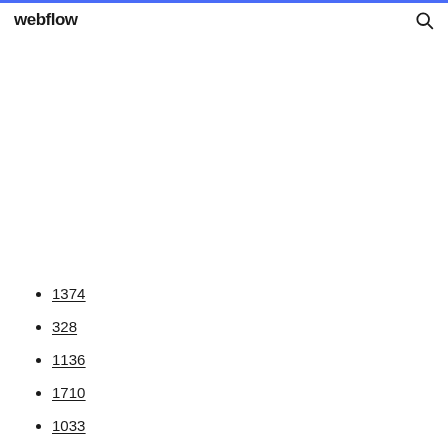webflow
1374
328
1136
1710
1033